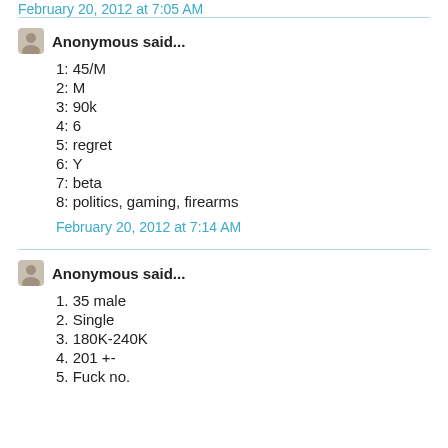February 20, 2012 at 7:05 AM
Anonymous said...
1: 45/M
2: M
3: 90k
4: 6
5: regret
6: Y
7: beta
8: politics, gaming, firearms
February 20, 2012 at 7:14 AM
Anonymous said...
1. 35 male
2. Single
3. 180K-240K
4. 201 +-
5. Fuck no.